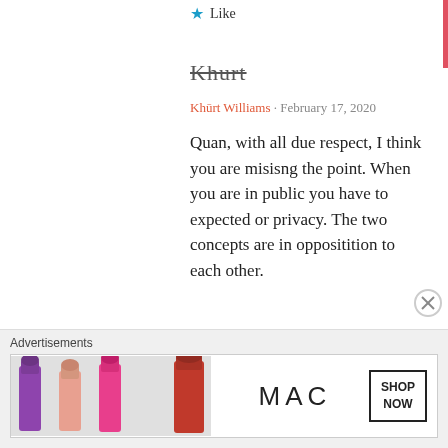Like
[Figure (illustration): Handwritten cursive signature reading 'Khurt' with strikethrough styling]
Khūrt Williams · February 17, 2020
Quan, with all due respect, I think you are misisng the point. When you are in public you have to expected or privacy. The two concepts are in oppositition to each other.
Like
[Figure (illustration): Yellow/green decorative cross/flower geometric icon]
Advertisements
[Figure (illustration): MAC cosmetics advertisement banner showing lipsticks in purple, peach, pink, red colors with MAC logo and SHOP NOW button]